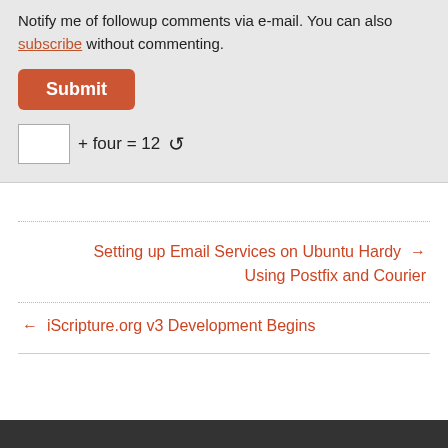Notify me of followup comments via e-mail. You can also subscribe without commenting.
Submit
+ four = 12 ↻
Setting up Email Services on Ubuntu Hardy Using Postfix and Courier →
← iScripture.org v3 Development Begins